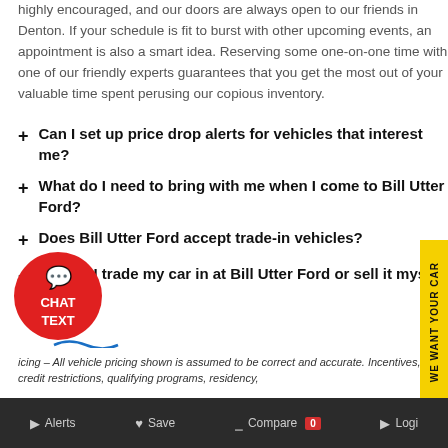highly encouraged, and our doors are always open to our friends in Denton. If your schedule is fit to burst with other upcoming events, an appointment is also a smart idea. Reserving some one-on-one time with one of our friendly experts guarantees that you get the most out of your valuable time spent perusing our copious inventory.
+ Can I set up price drop alerts for vehicles that interest me?
+ What do I need to bring with me when I come to Bill Utter Ford?
+ Does Bill Utter Ford accept trade-in vehicles?
+ Should I trade my car in at Bill Utter Ford or sell it myself?
icing – All vehicle pricing shown is assumed to be correct and accurate. Incentives, credit restrictions, qualifying programs, residency,
Alerts  Save  Compare 0  Login